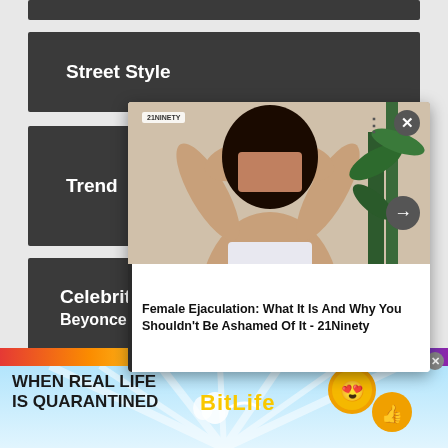Street Style
Trend
Celebrity
Beyonce
[Figure (photo): Overlay ad card showing a woman with curly hair covering her eyes with her hands, wearing a white top, with plants in the background. Text overlay reads: Female Ejaculation: What It Is And Why You Shouldn't Be Ashamed Of It - 21Ninety]
Female Ejaculation: What It Is And Why You Shouldn't Be Ashamed Of It - 21Ninety
[Figure (screenshot): BitLife advertisement banner at bottom of page. Rainbow stripe at top, text reads: WHEN REAL LIFE IS QUARANTINED with BitLife logo and emoji icons]